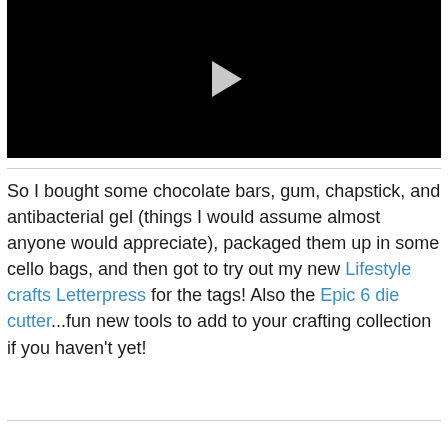[Figure (screenshot): Black video player with a gray play button triangle in the center]
So I bought some chocolate bars, gum, chapstick, and antibacterial gel (things I would assume almost anyone would appreciate), packaged them up in some cello bags, and then got to try out my new Lifestyle crafts Letterpress for the tags! Also the Epic 6 die cutter...fun new tools to add to your crafting collection if you haven't yet!